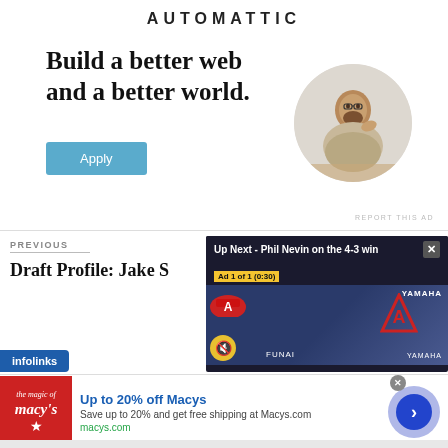[Figure (illustration): Automattic advertisement: 'Build a better web and a better world.' with an Apply button and a circular photo of a person thinking at a desk]
REPORT THIS AD
PREVIOUS
Draft Profile: Jake S
[Figure (screenshot): Video overlay: 'Up Next - Phil Nevin on the 4-3 win', Ad 1 of 1 (0:30), baseball game footage with YAMAHA and FUNAI logos]
[Figure (illustration): Macy's advertisement: Up to 20% off Macys, Save up to 20% and get free shipping at Macys.com, macys.com. Infolinks badge visible.]
infolinks